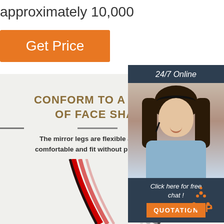approximately 10,000
Get Price
24/7 Online
[Figure (photo): Customer service representative woman with headset smiling]
Click here for free chat !
QUOTATION
CONFORM TO A VARIETY OF FACE SHAPES
The mirror legs are flexible and easy to be bent, comfortable and fit without pinching the face
[Figure (illustration): Decorative curved red and black arcs/legs illustration at the bottom]
TOP